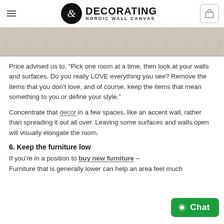DECORATING NORDIC WALL CANVAS
[Figure (photo): Herringbone wood floor pattern in light grey/beige tones]
Price advised us to, "Pick one room at a time, then look at your walls and surfaces. Do you really LOVE everything you see? Remove the items that you don't love, and of course, keep the items that mean something to you or define your style."
Concentrate that decor in a few spaces, like an accent wall, rather than spreading it out all over. Leaving some surfaces and walls open will visually elongate the room.
6. Keep the furniture low
If you're in a position to buy new furniture –
Furniture that is generally lower can help an area feel much